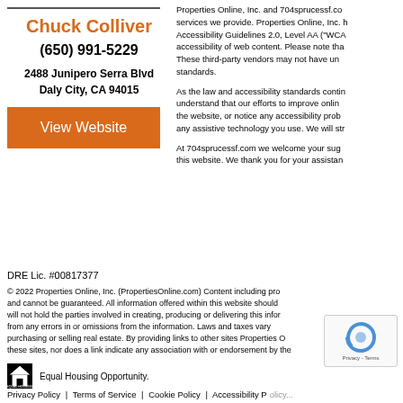Chuck Colliver
(650) 991-5229
2488 Junipero Serra Blvd
Daly City, CA 94015
View Website
Properties Online, Inc. and 704sprucessf.com are committed to ensuring the accessibility of the services we provide. Properties Online, Inc. has adopted the Web Content Accessibility Guidelines 2.0, Level AA ("WCAG 2.0 AA") as its standard for measuring the accessibility of web content. Please note that our website may contain links to third-party websites. These third-party vendors may not have updated their sites to conform to the most current accessibility standards.
As the law and accessibility standards continue to evolve, we will continue to update this page. We understand that our efforts to improve online accessibility are ongoing. If you have difficulty using the website, or notice any accessibility problem, please contact us and tell us the specific feature and any assistive technology you use. We will strive to provide the content you need.
At 704sprucessf.com we welcome your suggestions for improving the accessibility of this website. We thank you for your assistance in this matter.
DRE Lic. #00817377
© 2022 Properties Online, Inc. (PropertiesOnline.com) Content including property details, articles, and other information is subject to change without notice, and cannot be guaranteed. All information offered within this website should be independently verified. We will not hold the parties involved in creating, producing or delivering this information liable for any and all damages, claims or expenses resulting from any errors in or omissions from the information. Laws and taxes vary from state to state. You should consult with your individual adviser before purchasing or selling real estate. By providing links to other sites Properties Online, Inc. does not guarantee, approve, or endorse the information or products available at these sites, nor does a link indicate any association with or endorsement by the linked site to the agent, brokerage, brand or Properties Online, Inc.
Equal Housing Opportunity.
Privacy Policy | Terms of Service | Cookie Policy | Accessibility Policy